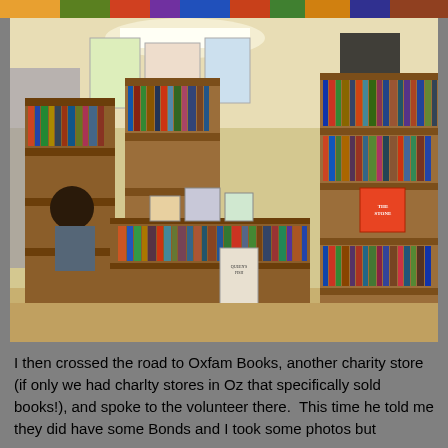[Figure (photo): Interior of Oxfam Books charity bookstore showing rows of wooden shelves packed with books, a person browsing in the background, posters on the walls, fluorescent ceiling lighting, and a wide variety of books displayed including some face-out on top shelves.]
I then crossed the road to Oxfam Books, another charity store (if only we had charlty stores in Oz that specifically sold books!), and spoke to the volunteer there.  This time he told me they did have some Bonds and I took some photos but